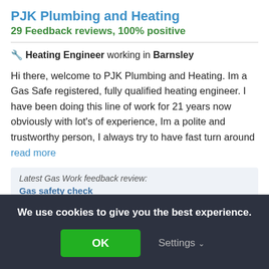PJK Plumbing and Heating
29 Feedback reviews, 100% positive
🔧 Heating Engineer working in Barnsley
Hi there, welcome to PJK Plumbing and Heating. Im a Gas Safe registered, fully qualified heating engineer. I have been doing this line of work for 21 years now obviously with lot's of experience, Im a polite and trustworthy person, I always try to have fast turn around read more
Latest Gas Work feedback review: Gas safety check
Would use again. 100% happy
We use cookies to give you the best experience.
OK
Settings